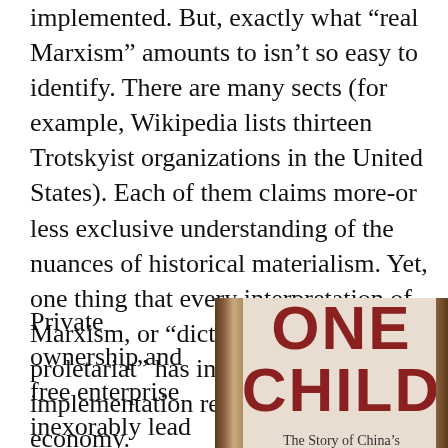implemented. But, exactly what “real Marxism” amounts to isn’t so easy to identify. There are many sects (for example, Wikipedia lists thirteen Trotskyist organizations in the United States). Each of them claims more-or less exclusive understanding of the nuances of historical materialism. Yet, one thing that every interpretation of Marxism, or “dictatorship of the proletariat” has in common is that implementation requires a planned economy.
Private ownership and free enterprise inexorably lead society
[Figure (photo): Book cover of 'ONE CHILD: The Story of China's' with dark brown spine borders on a beige/cream background, title in large red bold text]